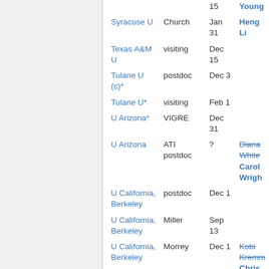| Institution | Type | Deadline | Name |
| --- | --- | --- | --- |
|  |  | 15 | Young (truncated) |
| Syracuse U | Church | Jan 31 | Heng Li (truncated) |
| Texas A&M U | visiting | Dec 15 |  |
| Tulane U (c)* | postdoc | Dec 3 |  |
| Tulane U* | visiting | Feb 1 |  |
| U Arizona* | VIGRE | Dec 31 |  |
| U Arizona | ATI postdoc | ? | Diana White (struck), Carol Wright (truncated) |
| U California, Berkeley | postdoc | Dec 1 |  |
| U California, Berkeley | Miller | Sep 13 |  |
| U California, Berkeley | Morrey | Dec 1 | Kobi Kremn (struck), Chris Zicke (truncated) |